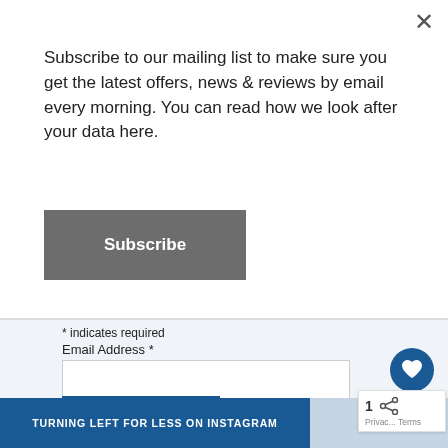Subscribe to our mailing list to make sure you get the latest offers, news & reviews by email every morning. You can read how we look after your data here.
Subscribe
* indicates required
Email Address *
Subscribe
You can read how we look after your data here
TURNING LEFT FOR LESS ON INSTAGRAM